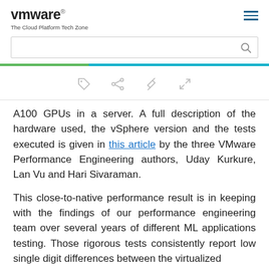vmware The Cloud Platform Tech Zone
[Figure (screenshot): Search bar with magnifying glass icon]
[Figure (infographic): Toolbar with tag, share, pin, and expand icons]
A100 GPUs in a server. A full description of the hardware used, the vSphere version and the tests executed is given in this article by the three VMware Performance Engineering authors, Uday Kurkure, Lan Vu and Hari Sivaraman.
This close-to-native performance result is in keeping with the findings of our performance engineering team over several years of different ML applications testing. Those rigorous tests consistently report low single digit differences between the virtualized